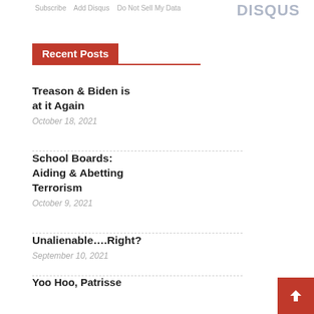Subscribe  Add Disqus  Do Not Sell My Data   DISQUS
Recent Posts
Treason & Biden is at it Again
October 18, 2021
School Boards: Aiding & Abetting Terrorism
October 9, 2021
Unalienable….Right?
September 10, 2021
Yoo Hoo, Patrisse
June 13, 2021
Right to exist determined by revamped history